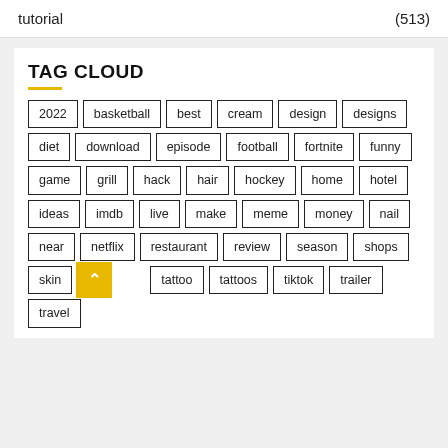tutorial (513)
TAG CLOUD
2022
basketball
best
cream
design
designs
diet
download
episode
football
fortnite
funny
game
grill
hack
hair
hockey
home
hotel
ideas
imdb
live
make
meme
money
nail
near
netflix
restaurant
review
season
shops
skin
tattoo
tattoos
tiktok
trailer
travel